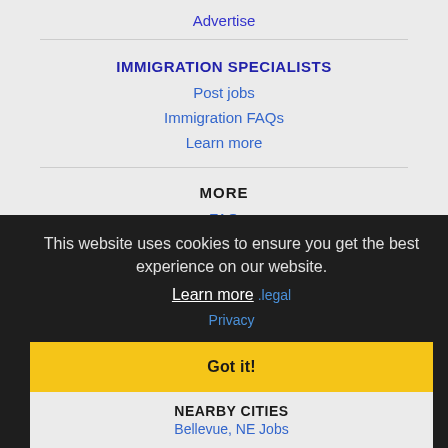Advertise
IMMIGRATION SPECIALISTS
Post jobs
Immigration FAQs
Learn more
MORE
FAQ
This website uses cookies to ensure you get the best experience on our website.
Learn more .legal
Privacy
Got it!
NEARBY CITIES
Bellevue, NE Jobs